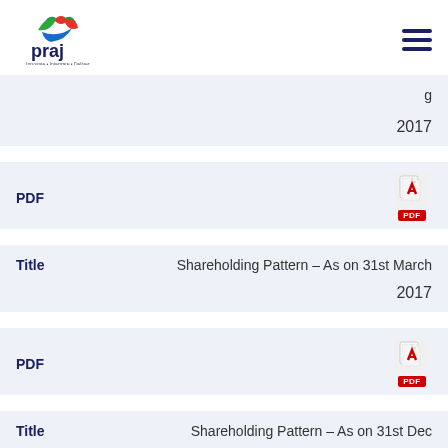praj — Innovate · Integrate · Deliver
2017
PDF
Title — Shareholding Pattern – As on 31st March 2017
PDF
Title — Shareholding Pattern – As on 31st Dec 2016